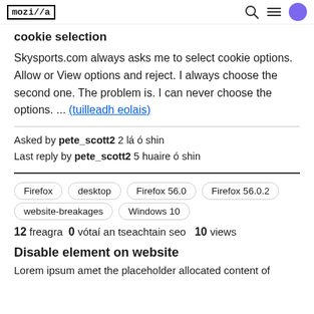mozi//a
cookie selection
Skysports.com always asks me to select cookie options. Allow or View options and reject. I always choose the second one. The problem is. I can never choose the options. ... (tuilleadh eolais)
Asked by pete_scott2 2 lá ó shin
Last reply by pete_scott2 5 huaire ó shin
Firefox
desktop
Firefox 56.0
Firefox 56.0.2
website-breakages
Windows 10
12 freagra  0 vótaí an tseachtain seo  10 views
Disable element on website